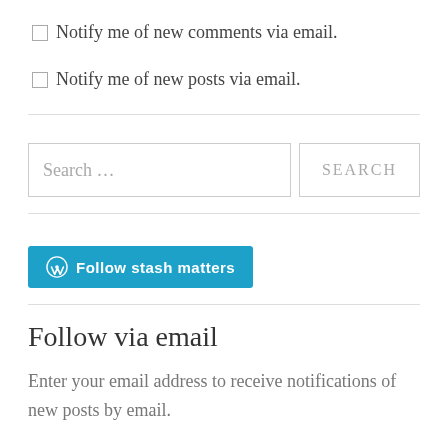Notify me of new comments via email.
Notify me of new posts via email.
[Figure (other): Search bar with text 'Search …' and a SEARCH button]
[Figure (other): WordPress Follow button labeled 'Follow stash matters']
Follow via email
Enter your email address to receive notifications of new posts by email.